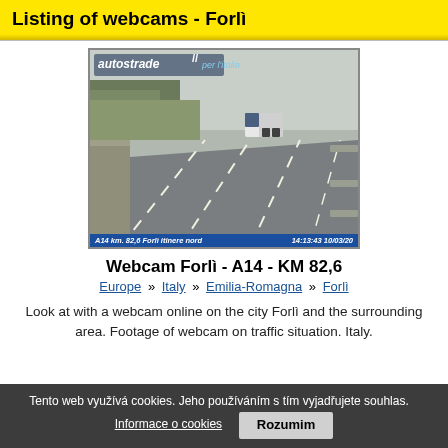Listing of webcams - Forlì
[Figure (photo): Traffic webcam screenshot showing Italian motorway A14 km 82,6 Forlì with a truck visible, overlaid with 'autostrade per l'italia' logo and timestamp caption '14:13:43 10/03/20']
Webcam Forlì - A14 - KM 82,6
Europe » Italy » Emilia-Romagna » Forlì
Look at with a webcam online on the city Forlì and the surrounding area. Footage of webcam on traffic situation. Italy.
Tento web využívá cookies. Jeho používáním s tím vyjadřujete souhlas.    Informace o cookies    Rozumim